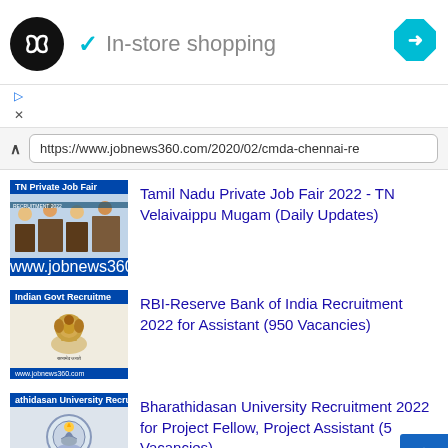[Figure (screenshot): Ad banner with circular black logo with infinity-like symbol, checkmark icon, text 'In-store shopping', and blue diamond navigation arrow]
[Figure (screenshot): URL bar showing https://www.jobnews360.com/2020/02/cmda-chennai-re]
[Figure (screenshot): Thumbnail for Tamil Nadu Private Job Fair listing with blue label 'TN Private Job Fair']
Tamil Nadu Private Job Fair 2022 - TN Velaivaippu Mugam (Daily Updates)
[Figure (screenshot): Thumbnail for Indian Govt Recruitment listing with Indian emblem]
RBI-Reserve Bank of India Recruitment 2022 for Assistant (950 Vacancies)
[Figure (screenshot): Thumbnail for Bharathidasan University Recruitment listing]
Bharathidasan University Recruitment 2022 for Project Fellow, Project Assistant (5 Vacancies)